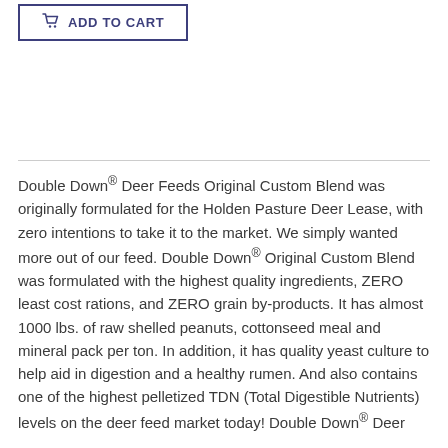[Figure (other): Add to Cart button with shopping cart icon, dark blue border]
Double Down® Deer Feeds Original Custom Blend was originally formulated for the Holden Pasture Deer Lease, with zero intentions to take it to the market. We simply wanted more out of our feed. Double Down® Original Custom Blend was formulated with the highest quality ingredients, ZERO least cost rations, and ZERO grain by-products. It has almost 1000 lbs. of raw shelled peanuts, cottonseed meal and mineral pack per ton. In addition, it has quality yeast culture to help aid in digestion and a healthy rumen. And also contains one of the highest pelletized TDN (Total Digestible Nutrients) levels on the deer feed market today! Double Down® Deer